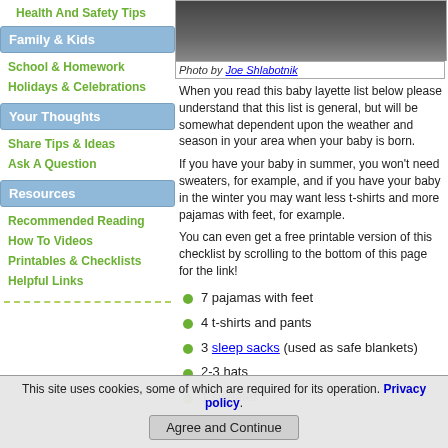Health And Safety Tips
Family & Kids
School & Homework
Holidays & Celebrations
Your Thoughts
Share Tips & Ideas
Ask A Question
Resources
Recommended Reading
How To Videos
Printables & Checklists
Helpful Links
[Figure (photo): Baby clothing photo with caption: Photo by Joe Shlabotnik]
Photo by Joe Shlabotnik
When you read this baby layette list below please understand that this list is general, but will be somewhat dependent upon the weather and season in your area when your baby is born.
If you have your baby in summer, you won't need sweaters, for example, and if you have your baby in the winter you may want less t-shirts and more pajamas with feet, for example.
You can even get a free printable version of this checklist by scrolling to the bottom of this page for the link!
7 pajamas with feet
4 t-shirts and pants
3 sleep sacks (used as safe blankets)
2-3 hats
1 sweater
This site uses cookies, some of which are required for its operation. Privacy policy.